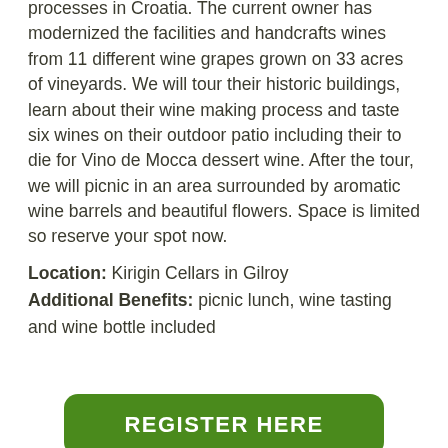processes in Croatia. The current owner has modernized the facilities and handcrafts wines from 11 different wine grapes grown on 33 acres of vineyards. We will tour their historic buildings, learn about their wine making process and taste six wines on their outdoor patio including their to die for Vino de Mocca dessert wine. After the tour, we will picnic in an area surrounded by aromatic wine barrels and beautiful flowers. Space is limited so reserve your spot now.
Location: Kirigin Cellars in Gilroy
Additional Benefits: picnic lunch, wine tasting and wine bottle included
REGISTER HERE